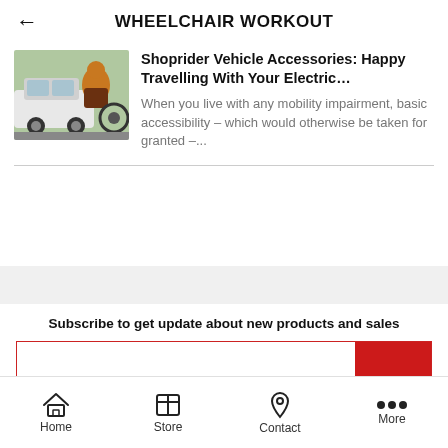WHEELCHAIR WORKOUT
Shoprider Vehicle Accessories: Happy Travelling With Your Electric…
When you live with any mobility impairment, basic accessibility – which would otherwise be taken for granted –...
Subscribe to get update about new products and sales
Home  Store  Contact  More